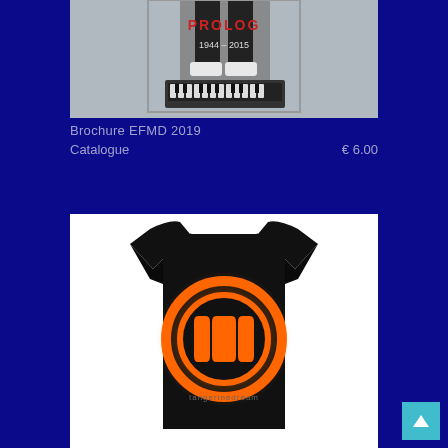[Figure (photo): Product photo of EFMD 2019 brochure catalog, showing a person standing with a keyboard synthesizer on the ground, text '1944-2015' visible]
Brochure EFMD 2019
Catalogue   € 6.00
[Figure (photo): Black t-shirt with orange Tangerine Dream logo (stylized TD in a circle) and 'tangerinedream' text below the logo]